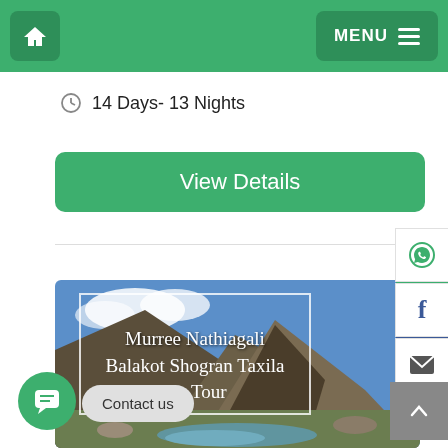Home | MENU
14 Days- 13 Nights
View Details
[Figure (photo): Mountain landscape with river, overlaid with cursive text reading 'Murree Nathiagali Balakot Shogran Taxila ian Tour']
Contact us